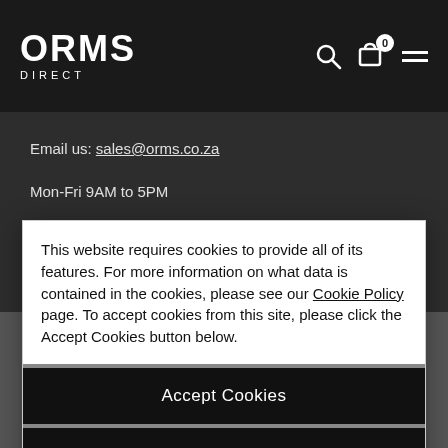ORMS DIRECT — navigation header with search, cart (0), and menu icons
Email us: sales@orms.co.za
Mon-Fri 9AM to 5PM
This website requires cookies to provide all of its features. For more information on what data is contained in the cookies, please see our Cookie Policy page. To accept cookies from this site, please click the Accept Cookies button below.
Accept Cookies
Decline
Customize Settings